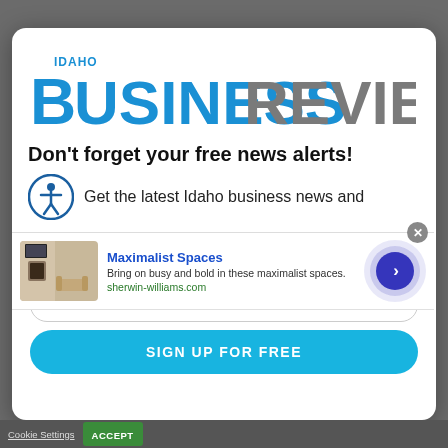[Figure (logo): Idaho Business Review logo — 'IDAHO' in small blue text above 'BUSINESS' in large bold blue and 'REVIEW' in large bold gray]
Don't forget your free news alerts!
Get the latest Idaho business news and
[Figure (other): Advertisement banner: Maximalist Spaces by Sherwin-Williams with room photo and navigation arrow]
[Figure (other): Sign Up For Free button — teal rounded rectangle]
Cookie Settings   ACCEPT